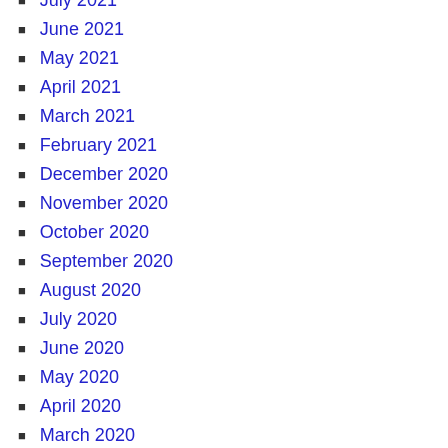July 2021
June 2021
May 2021
April 2021
March 2021
February 2021
December 2020
November 2020
October 2020
September 2020
August 2020
July 2020
June 2020
May 2020
April 2020
March 2020
February 2020
January 2020
December 2019